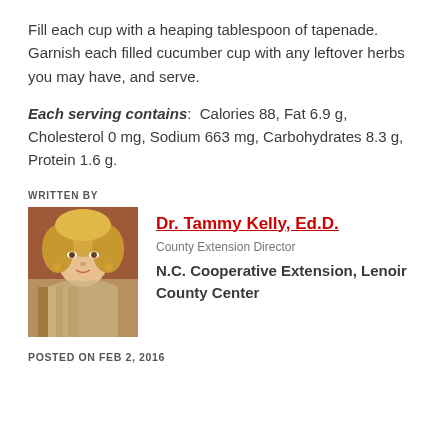Fill each cup with a heaping tablespoon of tapenade. Garnish each filled cucumber cup with any leftover herbs you may have, and serve.
Each serving contains: Calories 88, Fat 6.9 g, Cholesterol 0 mg, Sodium 663 mg, Carbohydrates 8.3 g, Protein 1.6 g.
WRITTEN BY
[Figure (photo): Headshot photo of Dr. Tammy Kelly, a woman with blonde hair]
Dr. Tammy Kelly, Ed.D.
County Extension Director
N.C. Cooperative Extension, Lenoir County Center
POSTED ON FEB 2, 2016